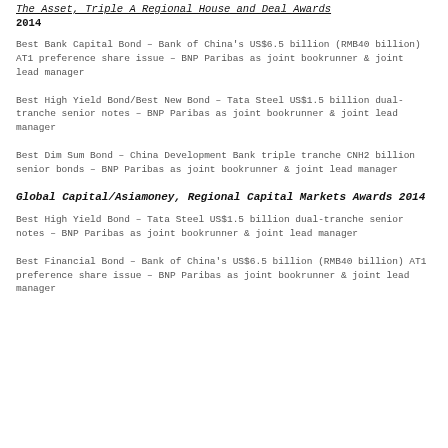The Asset, Triple A Regional House and Deal Awards 2014
Best Bank Capital Bond – Bank of China's US$6.5 billion (RMB40 billion) AT1 preference share issue – BNP Paribas as joint bookrunner & joint lead manager
Best High Yield Bond/Best New Bond – Tata Steel US$1.5 billion dual-tranche senior notes – BNP Paribas as joint bookrunner & joint lead manager
Best Dim Sum Bond – China Development Bank triple tranche CNH2 billion senior bonds – BNP Paribas as joint bookrunner & joint lead manager
Global Capital/Asiamoney, Regional Capital Markets Awards 2014
Best High Yield Bond – Tata Steel US$1.5 billion dual-tranche senior notes – BNP Paribas as joint bookrunner & joint lead manager
Best Financial Bond – Bank of China's US$6.5 billion (RMB40 billion) AT1 preference share issue – BNP Paribas as joint bookrunner & joint lead manager